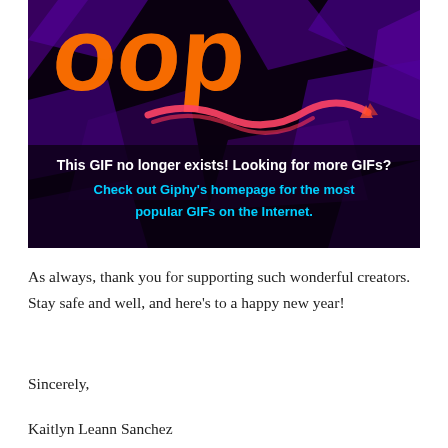[Figure (screenshot): Error image from Giphy on dark purple/black background with orange 'oop' text and pink squiggle, showing message: 'This GIF no longer exists! Looking for more GIFs? Check out Giphy's homepage for the most popular GIFs on the Internet.']
As always, thank you for supporting such wonderful creators. Stay safe and well, and here's to a happy new year!
Sincerely,
Kaitlyn Leann Sanchez